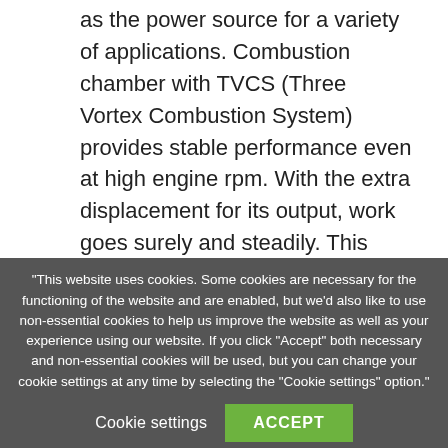as the power source for a variety of applications. Combustion chamber with TVCS (Three Vortex Combustion System) provides stable performance even at high engine rpm. With the extra displacement for its output, work goes surely and steadily. This engine offers a seamless transition from E2 to E4 by entirely maintaining the same performance and
"This website uses cookies. Some cookies are necessary for the functioning of the website and are enabled, but we'd also like to use non-essential cookies to help us improve the website as well as your experience using our website. If you click "Accept" both necessary and non-essential cookies will be used, but you can change your cookie settings at any time by selecting the "Cookie settings" option."